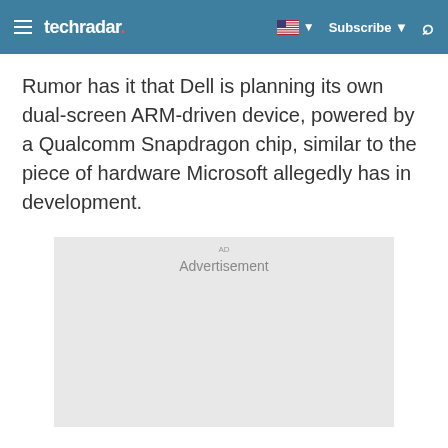techradar | Subscribe
Rumor has it that Dell is planning its own dual-screen ARM-driven device, powered by a Qualcomm Snapdragon chip, similar to the piece of hardware Microsoft allegedly has in development.
[Figure (other): Advertisement placeholder box with light gray background]